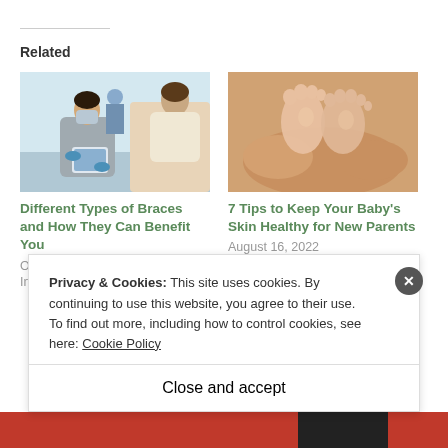Related
[Figure (photo): Dental professional wearing mask showing tablet to patient in dental chair]
Different Types of Braces and How They Can Benefit You
October 13, 2021
In "Health News"
[Figure (photo): Close-up of baby feet being held gently by adult hands]
7 Tips to Keep Your Baby's Skin Healthy for New Parents
August 16, 2022
In "Health News"
Privacy & Cookies: This site uses cookies. By continuing to use this website, you agree to their use.
To find out more, including how to control cookies, see here: Cookie Policy
Close and accept